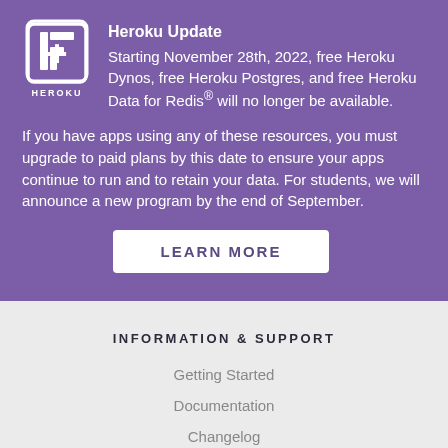[Figure (logo): Heroku logo: white square bracket icon with stylized H letter, white 'HEROKU' text below, on purple background]
Heroku Update
Starting November 28th, 2022, free Heroku Dynos, free Heroku Postgres, and free Heroku Data for Redis® will no longer be available.
If you have apps using any of these resources, you must upgrade to paid plans by this date to ensure your apps continue to run and to retain your data. For students, we will announce a new program by the end of September.
LEARN MORE
INFORMATION & SUPPORT
Getting Started
Documentation
Changelog
Compliance Center